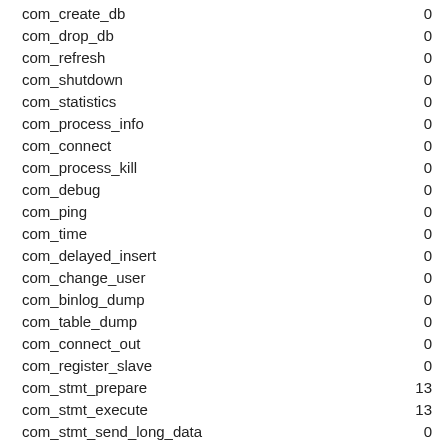| com_create_db | 0 |
| com_drop_db | 0 |
| com_refresh | 0 |
| com_shutdown | 0 |
| com_statistics | 0 |
| com_process_info | 0 |
| com_connect | 0 |
| com_process_kill | 0 |
| com_debug | 0 |
| com_ping | 0 |
| com_time | 0 |
| com_delayed_insert | 0 |
| com_change_user | 0 |
| com_binlog_dump | 0 |
| com_table_dump | 0 |
| com_connect_out | 0 |
| com_register_slave | 0 |
| com_stmt_prepare | 13 |
| com_stmt_execute | 13 |
| com_stmt_send_long_data | 0 |